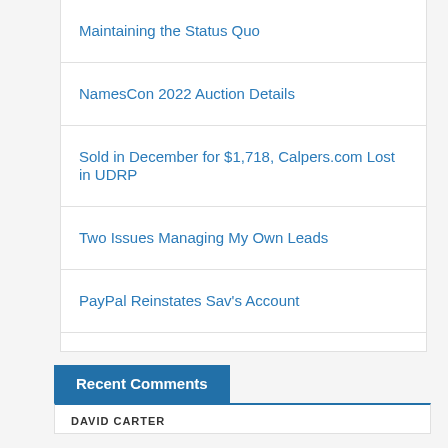Maintaining the Status Quo
NamesCon 2022 Auction Details
Sold in December for $1,718, Calpers.com Lost in UDRP
Two Issues Managing My Own Leads
PayPal Reinstates Sav's Account
Recent Comments
DAVID CARTER